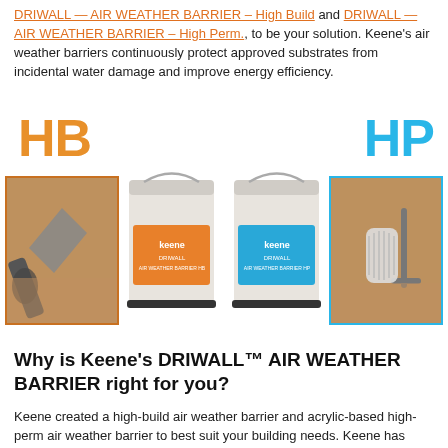DRIWALL — AIR WEATHER BARRIER – High Build and DRIWALL — AIR WEATHER BARRIER – High Perm., to be your solution. Keene's air weather barriers continuously protect approved substrates from incidental water damage and improve energy efficiency.
[Figure (photo): Product photo showing two labeled sections: HB (orange label) with a trowel application image and an orange-labeled bucket, and HP (blue label) with a blue-labeled bucket and a roller application image. All four items displayed side by side.]
Why is Keene's DRIWALL™ AIR WEATHER BARRIER right for you?
Keene created a high-build air weather barrier and acrylic-based high-perm air weather barrier to best suit your building needs. Keene has been in the field and witnessed the various first-hand challenges of contractors and put together the perfect